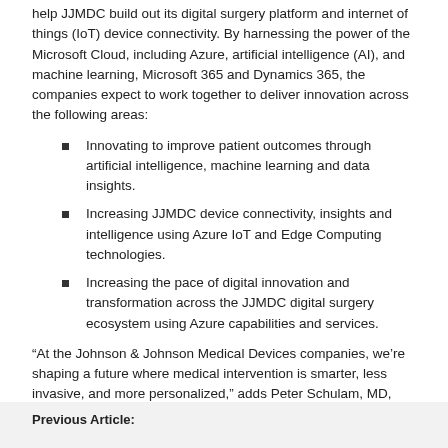help JJMDC build out its digital surgery platform and internet of things (IoT) device connectivity. By harnessing the power of the Microsoft Cloud, including Azure, artificial intelligence (AI), and machine learning, Microsoft 365 and Dynamics 365, the companies expect to work together to deliver innovation across the following areas:
Innovating to improve patient outcomes through artificial intelligence, machine learning and data insights.
Increasing JJMDC device connectivity, insights and intelligence using Azure IoT and Edge Computing technologies.
Increasing the pace of digital innovation and transformation across the JJMDC digital surgery ecosystem using Azure capabilities and services.
“At the Johnson & Johnson Medical Devices companies, we’re shaping a future where medical intervention is smarter, less invasive, and more personalized,” adds Peter Schulam, MD, PhD, Global Head, Medical Affairs, Clinical Affairs and Pre-Clinical Research, Johnson & Johnson Medical Devices Companies, and Leader, Office of Digital Innovation. “We’re excited to collaborate with Microsoft on this important work as we continue to expand our digital surgery assets and capabilities, develop innovative and advanced instrumentation, and make a meaningful clinical difference for customers and patients.”
Previous Article: